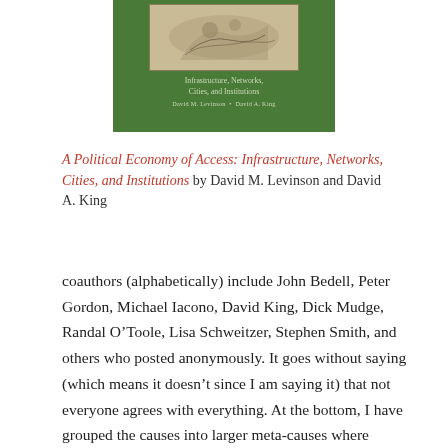[Figure (illustration): Book cover for 'A Political Economy of Access: Infrastructure, Networks, Cities, and Institutions' by David M. Levinson and David A. King. Green background with a historical engraving image at top and white/light subtitle and author text.]
A Political Economy of Access: Infrastructure, Networks, Cities, and Institutions by David M. Levinson and David A. King
coauthors (alphabetically) include John Bedell, Peter Gordon, Michael Iacono, David King, Dick Mudge, Randal O’Toole, Lisa Schweitzer, Stephen Smith, and others who posted anonymously. It goes without saying (which means it doesn’t since I am saying it) that not everyone agrees with everything. At the bottom, I have grouped the causes into larger meta-causes where appropriate.